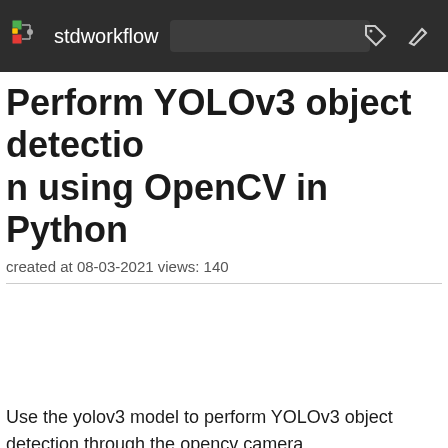stdworkflow
Perform YOLOv3 object detection using OpenCV in Python
created at 08-03-2021 views: 140
Use the yolov3 model to perform YOLOv3 object detection through the opencv camera.
Import the required modules: